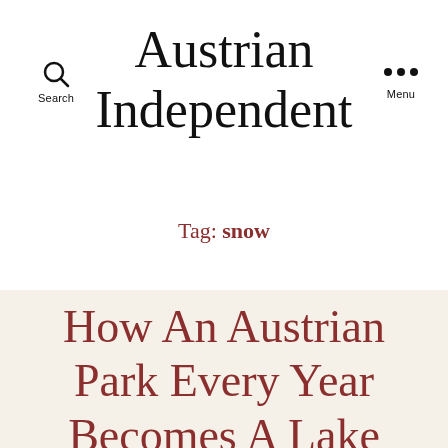Austrian Independent
Tag: snow
How An Austrian Park Every Year Becomes A Lake